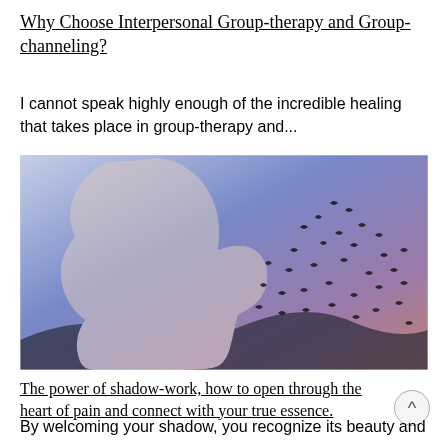Why Choose Interpersonal Group-therapy and Group-channeling?
I cannot speak highly enough of the incredible healing that takes place in group-therapy and...
[Figure (photo): Double-exposure artistic photo of a woman's profile silhouette filled with a gradient sky (blue-purple-pink) and scattered birds in flight.]
The power of shadow-work, how to open through the heart of pain and connect with your true essence.
By welcoming your shadow, you recognize its beauty and